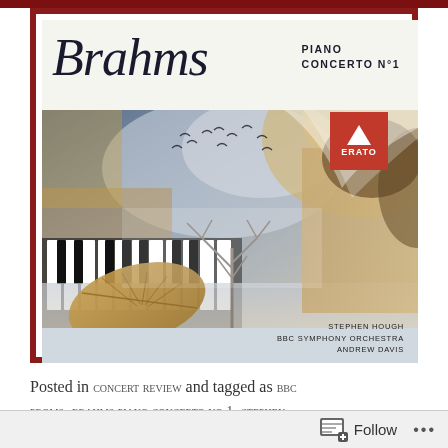[Figure (illustration): Album cover for Brahms Piano Concerto No. 1. Features a script 'Brahms' logo in dark font, 'PIANO CONCERTO N°1' in small caps, an Erato record label logo in red, and a collage image of piano keys, winter tree, dried leaf, birds flying, and a person's face partially visible. At the bottom: 'STEPHEN HOUGH / BBC SYMPHONY ORCHESTRA / ANDREW DAVIS'. The cover is framed with a dark red border.]
Posted in CONCERT REVIEW and tagged as BBC PROMS, BRAHMS PIANO CONCERTO NO 1, STEPHEN